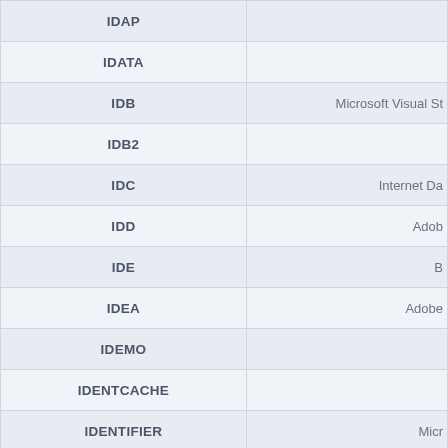| Extension | Description |
| --- | --- |
| IDAP |  |
| IDATA |  |
| IDB | Microsoft Visual St… |
| IDB2 |  |
| IDC | Internet Da… |
| IDD | Adob… |
| IDE | B… |
| IDEA | Adob… |
| IDEMO |  |
| IDENTCACHE |  |
| IDENTIFIER | Micr… |
| IDF | Microsoft Windo… |
| IDG |  |